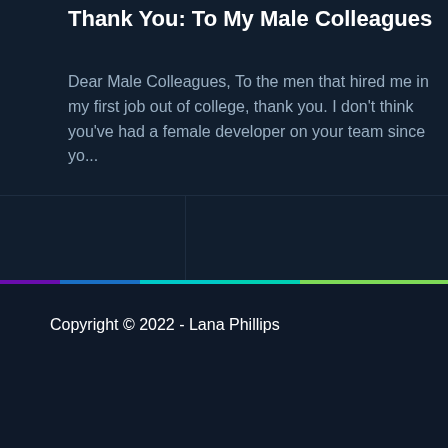Thank You: To My Male Colleagues
Dear Male Colleagues, To the men that hired me in my first job out of college, thank you. I don't think you've had a female developer on your team since yo...
read more
Copyright © 2022 - Lana Phillips